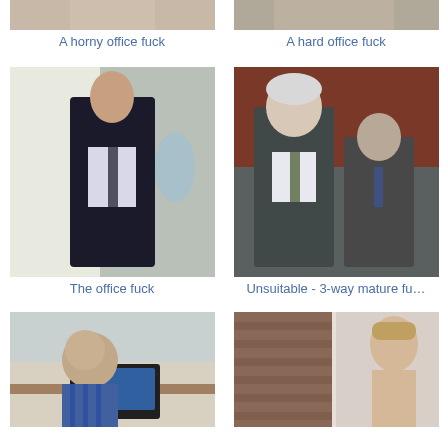[Figure (photo): Partial thumbnail photo cropped at top - person in suit]
[Figure (photo): Partial thumbnail photo cropped at top - person in office setting]
A horny office fuck
A hard office fuck
[Figure (photo): Man in black suit with tie standing in office]
[Figure (photo): Two older men in suits in office setting]
The office fuck
Unsuitable - 3-way mature fu…
[Figure (photo): Older bald man looking at laptop]
[Figure (photo): Young man shirtless near brick wall]